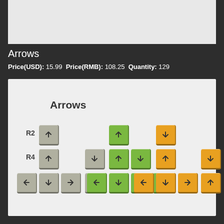[Figure (illustration): Top gray area representing a product image placeholder]
Arrows
Price(USD): 15.99 Price(RMB): 108.25 Quantity: 129
[Figure (illustration): Keyboard keycap layout diagram showing Arrows keycap set in three color variants (gray, green, orange) arranged in rows R2, R3, R4 with directional arrow keys]